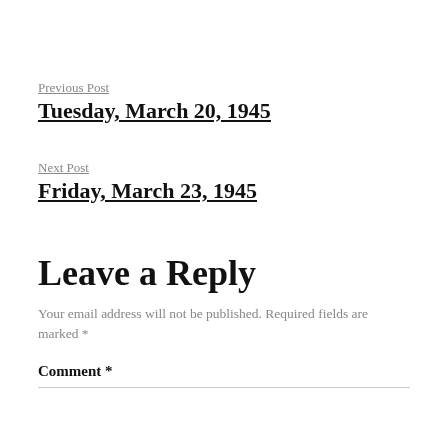Previous Post
Tuesday, March 20, 1945
Next Post
Friday, March 23, 1945
Leave a Reply
Your email address will not be published. Required fields are marked *
Comment *